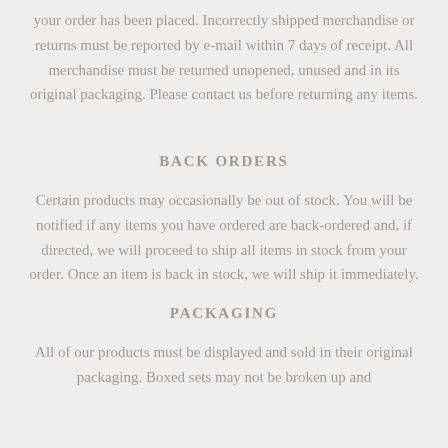your order has been placed. Incorrectly shipped merchandise or returns must be reported by e-mail within 7 days of receipt. All merchandise must be returned unopened, unused and in its original packaging. Please contact us before returning any items.
BACK ORDERS
Certain products may occasionally be out of stock. You will be notified if any items you have ordered are back-ordered and, if directed, we will proceed to ship all items in stock from your order. Once an item is back in stock, we will ship it immediately.
PACKAGING
All of our products must be displayed and sold in their original packaging. Boxed sets may not be broken up and